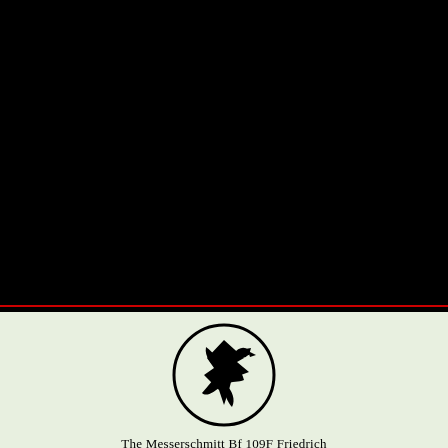[Figure (illustration): Large black section covering upper portion of the cover page, representing a dark background or photograph area]
[Figure (logo): Messerschmitt company logo: a stylized diving bird silhouette inside a circle, black on light green background]
The Messerschmitt Bf 109F Friedrich